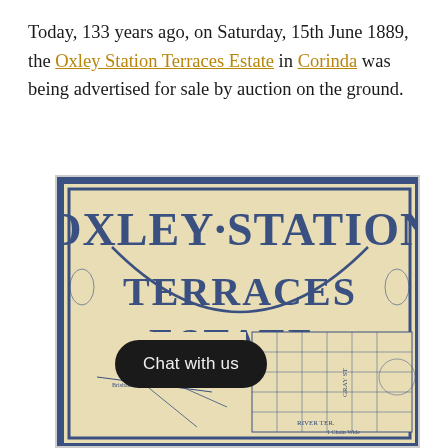Today, 133 years ago, on Saturday, 15th June 1889, the Oxley Station Terraces Estate in Corinda was being advertised for sale by auction on the ground.
[Figure (illustration): Historic auction poster for Oxley Station Terraces Estate, featuring large decorative blue and cream lettering reading 'OXLEY STATION TERRACES ESTATE.' with a local sketch map and lot plan inset. A 'Chat with us' button overlay appears at the bottom left.]